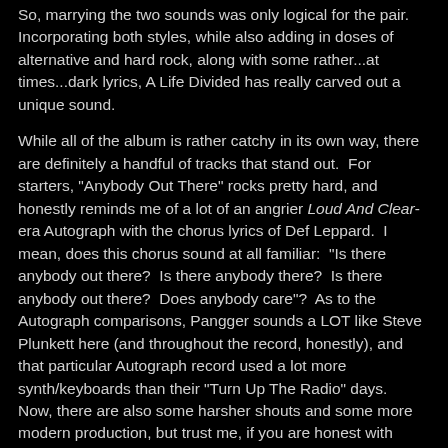So, marrying the two sounds was only logical for the pair. Incorporating both styles, while also adding in doses of alternative and hard rock, along with some rather...at times...dark lyrics, A Life Divided has really carved out a unique sound.
While all of the album is rather catchy in its own way, there are definitely a handful of tracks that stand out.  For starters, "Anybody Out There" rocks pretty hard, and honestly reminds me of a lot of an angrier Loud And Clear-era Autograph with the chorus lyrics of Def Leppard.  I mean, does this chorus sound at all familiar:  "Is there anybody out there?  Is there anybody there?  Is there anybody out there?  Does anybody care"?  As to the Autograph comparisons, Pangger sounds a LOT like Steve Plunkett here (and throughout the record, honestly), and that particular Autograph record used a lot more synth/keyboards than their "Turn Up The Radio" days.  Now, there are also some harsher shouts and some more modern production, but trust me, if you are honest with yourself and at all familiar with that latter day Autograph sound, you are going to know EXACTLY what I am talking about.